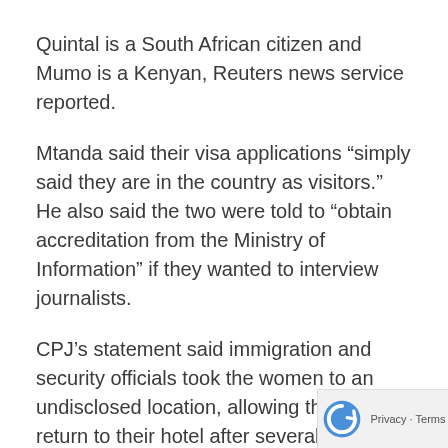Quintal is a South African citizen and Mumo is a Kenyan, Reuters news service reported.
Mtanda said their visa applications “simply said they are in the country as visitors.” He also said the two were told to “obtain accreditation from the Ministry of Information” if they wanted to interview journalists.
CPJ’s statement said immigration and security officials took the women to an undisclosed location, allowing them to return to their hotel after several hours of questioning. “During their detention, Quintal and Mumo’s phones and computers were also seized,” and “a false tweet saying they had been released was sent from Quintal’s personal Twitter account. …”